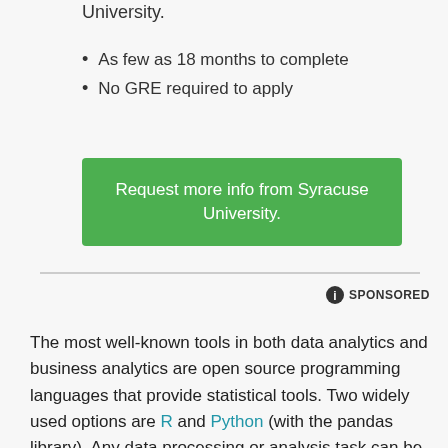University.
As few as 18 months to complete
No GRE required to apply
[Figure (other): Green button: Request more info from Syracuse University.]
SPONSORED
The most well-known tools in both data analytics and business analytics are open source programming languages that provide statistical tools. Two widely used options are R and Python (with the pandas library). Any data processing or analysis task can be automated using these